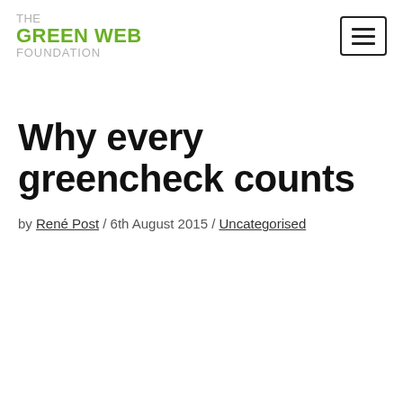THE GREEN WEB FOUNDATION
Why every greencheck counts
by René Post / 6th August 2015 / Uncategorised